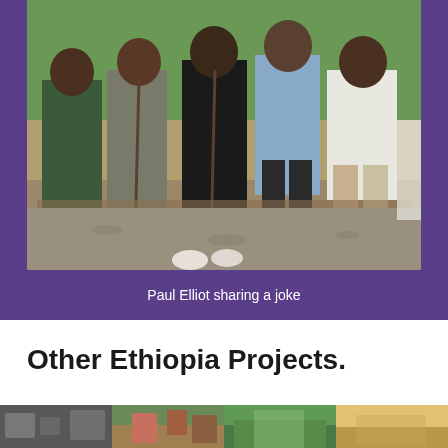[Figure (photo): Group photo of five men seated outdoors, some holding sticks/rifles, with a green background. Paul Elliot sharing a joke with local community members in Ethiopia.]
Paul Elliot sharing a joke
Other Ethiopia Projects.
[Figure (photo): Four small thumbnail images of Ethiopia project sites, showing various landscapes and buildings.]